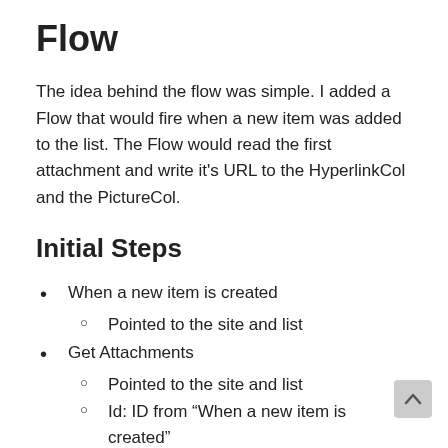Flow
The idea behind the flow was simple. I added a Flow that would fire when a new item was added to the list. The Flow would read the first attachment and write it’s URL to the HyperlinkCol and the PictureCol.
Initial Steps
When a new item is created
Pointed to the site and list
Get Attachments
Pointed to the site and list
Id: ID from “When a new item is created”
Initialize Variable
Name: AttachmentURL
Type: String